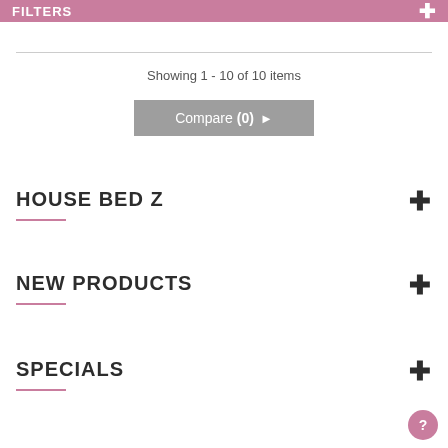FILTERS +
Showing 1 - 10 of 10 items
Compare (0) >
HOUSE BED Z
NEW PRODUCTS
SPECIALS